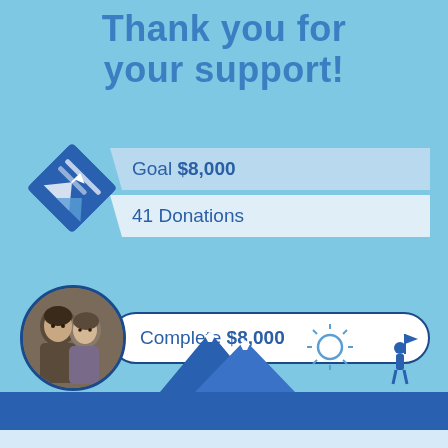Thank you for your support!
Goal $8,000
41 Donations
Complete $8,000
Reached 23/12/2015